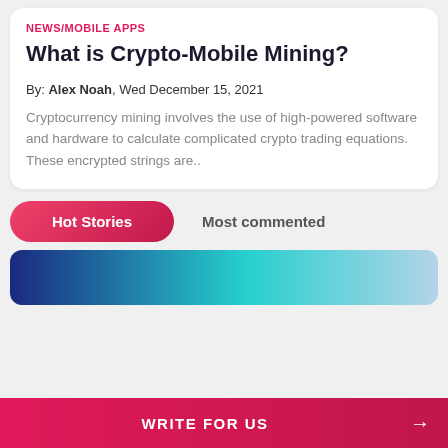NEWS/MOBILE APPS
What is Crypto-Mobile Mining?
By: Alex Noah, Wed December 15, 2021
Cryptocurrency mining involves the use of high-powered software and hardware to calculate complicated crypto trading equations. These encrypted strings are..
Hot Stories
Most commented
[Figure (photo): Blue and light blue gradient image strip at bottom of page]
WRITE FOR US →